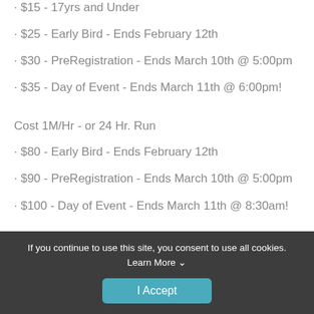· $15 - 17yrs and Under
· $25 - Early Bird - Ends February 12th
· $30 - PreRegistration - Ends March 10th @ 5:00pm
· $35 - Day of Event - Ends March 11th @ 6:00pm!
Cost 1M/Hr - or 24 Hr. Run
· $80 - Early Bird - Ends February 12th
· $90 - PreRegistration - Ends March 10th @ 5:00pm
· $100 - Day of Event - Ends March 11th @ 8:30am!
If you continue to use this site, you consent to use all cookies. Learn More ∨
I Accept